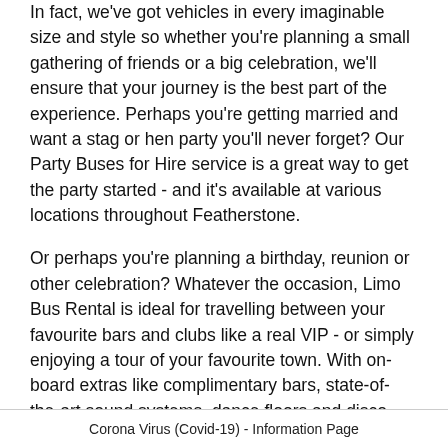In fact, we've got vehicles in every imaginable size and style so whether you're planning a small gathering of friends or a big celebration, we'll ensure that your journey is the best part of the experience. Perhaps you're getting married and want a stag or hen party you'll never forget? Our Party Buses for Hire service is a great way to get the party started - and it's available at various locations throughout Featherstone.
Or perhaps you're planning a birthday, reunion or other celebration? Whatever the occasion, Limo Bus Rental is ideal for travelling between your favourite bars and clubs like a real VIP - or simply enjoying a tour of your favourite town. With on-board extras like complimentary bars, state-of-the-art sound systems, dance floors and disco lighting, you'll have everything you need on hand. And with only the best drivers in West Yorkshire on hand to whisk you wherever you want to go, you can relax knowing that you're in good hands.
Want to find the best deals on Party Bus Hire in Featherstone
Corona Virus (Covid-19) - Information Page